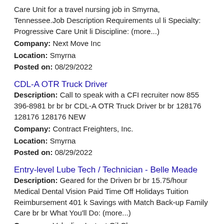Care Unit for a travel nursing job in Smyrna, Tennessee.Job Description Requirements ul li Specialty: Progressive Care Unit li Discipline: (more...)
Company: Next Move Inc
Location: Smyrna
Posted on: 08/29/2022
CDL-A OTR Truck Driver
Description: Call to speak with a CFI recruiter now 855 396-8981 br br br CDL-A OTR Truck Driver br br 128176 128176 128176 NEW
Company: Contract Freighters, Inc.
Location: Smyrna
Posted on: 08/29/2022
Entry-level Lube Tech / Technician - Belle Meade
Description: Geared for the Driven br br 15.75/hour Medical Dental Vision Paid Time Off Holidays Tuition Reimbursement 401 k Savings with Match Back-up Family Care br br What You'll Do: (more...)
Company: Valvoline Instant Oil Change
Location: Smyrna
Posted on: 08/29/2022
Warehouse Operator - Overnight Shifts Available
Description: Job Description Amazon Delivery Station Warehouse